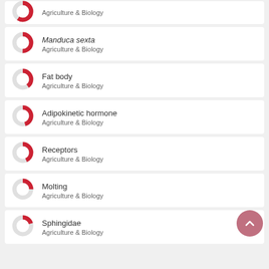Agriculture & Biology
Manduca sexta
Agriculture & Biology
Fat body
Agriculture & Biology
Adipokinetic hormone
Agriculture & Biology
Receptors
Agriculture & Biology
Molting
Agriculture & Biology
Sphingidae
Agriculture & Biology